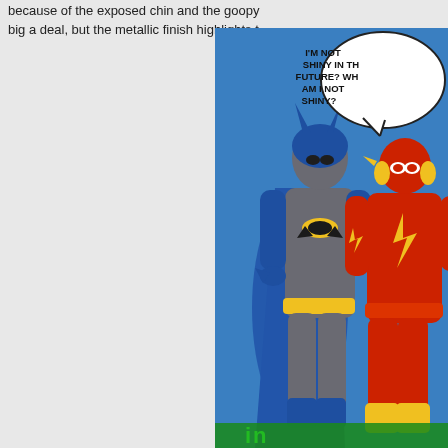because of the exposed chin and the goopy... big a deal, but the metallic finish highlights t...
[Figure (photo): Photo of Batman and Flash action figures standing side by side against a blue background. Batman is in classic blue and grey costume with yellow belt and blue cape, shown from behind/side. The Flash is in red costume with yellow lightning bolt. A comic-style speech bubble reads: I'M NOT SHINY IN THE FUTURE? WHY AM I NOT SHINY? At the bottom, partial green text visible.]